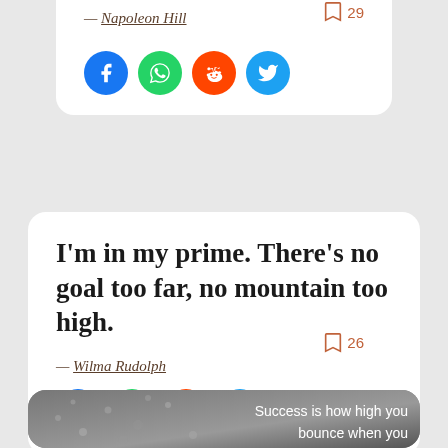— Napoleon Hill
29
[Figure (infographic): Social share icons: Facebook (blue circle), WhatsApp (green circle), Reddit (orange circle), Twitter (blue circle)]
I'm in my prime. There's no goal too far, no mountain too high.
— Wilma Rudolph
26
[Figure (infographic): Social share icons: Facebook (blue circle), WhatsApp (green circle), Reddit (orange circle), Twitter (blue circle)]
[Figure (photo): Grayscale photo of rain drops on a surface with overlaid white text reading: 'Success is how high you bounce when you']